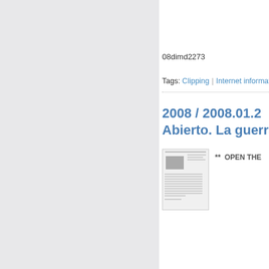08dimd2273
Tags: Clipping | Internet information
2008 / 2008.01.21 Abierto. La guerra
[Figure (screenshot): Thumbnail image of a webpage or document with text and a small photo]
** OPEN THE